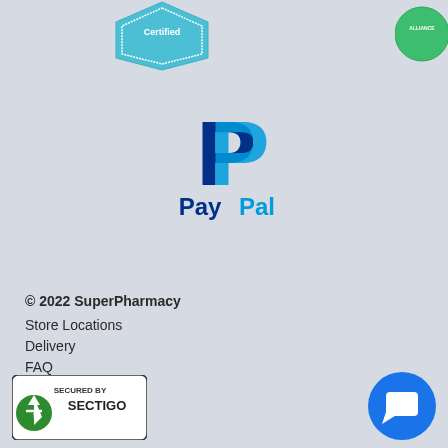[Figure (logo): Certified badge (teal/blue hexagon shape) partially visible at top]
[Figure (logo): Alliance seal (green circular badge) partially visible at top]
[Figure (logo): PayPal logo with blue P icon and PayPal text]
© 2022 SuperPharmacy
Store Locations
Delivery
FAQ
About Us
Sustainability
Services
Returns
Privacy Policy
Terms & Conditions
1300 463 342
[Figure (logo): Secured by Sectigo badge with green shield/arrow logo]
[Figure (logo): Blue circular chat/support button with white chat bubble icon]